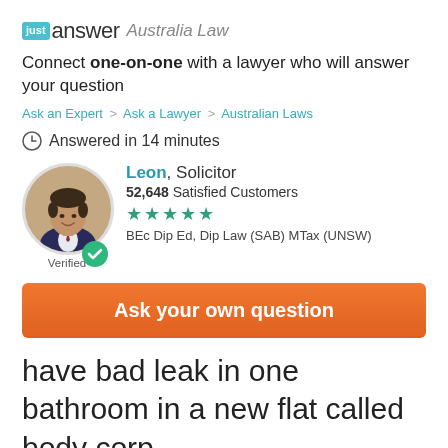[Figure (logo): JustAnswer Australia Law logo with teal 'just' badge and 'answer' wordmark followed by italic 'Australia Law']
Connect one-on-one with a lawyer who will answer your question
Ask an Expert > Ask a Lawyer > Australian Laws
Answered in 14 minutes
[Figure (photo): Portrait photo of Leon, a man in a suit, displayed in a circular frame with a green verified checkmark badge]
Leon, Solicitor
52,648 Satisfied Customers
★★★★★
BEc Dip Ed, Dip Law (SAB) MTax (UNSW)
Verified
Ask your own question
have bad leak in one bathroom in a new flat called body corp...